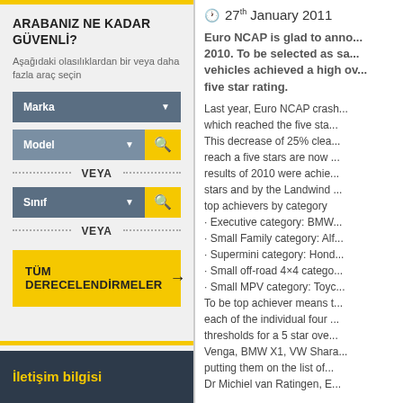ARABANIZ NE KADAR GÜVENLİ?
Aşağıdaki olasılıklardan bir veya daha fazla araç seçin
Marka ▼
Model ▼
VEYA
Sınıf ▼
VEYA
TÜM DERECELENDİRMELER →
İletişim bilgisi
27th January 2011
Euro NCAP is glad to anno... 2010. To be selected as sa... vehicles achieved a high ov... five star rating.
Last year, Euro NCAP crash... which reached the five sta... This decrease of 25% clea... reach a five stars are now ... results of 2010 were achie... stars and by the Landwind ... top achievers by category
· Executive category: BMW
· Small Family category: Alf
· Supermini category: Hond
· Small off-road 4×4 catego
· Small MPV category: Toyc
To be top achiever means t... each of the individual four ... thresholds for a 5 star ove... Venga, BMW X1, VW Shara... putting them on the list of... Dr Michiel van Ratingen, E...